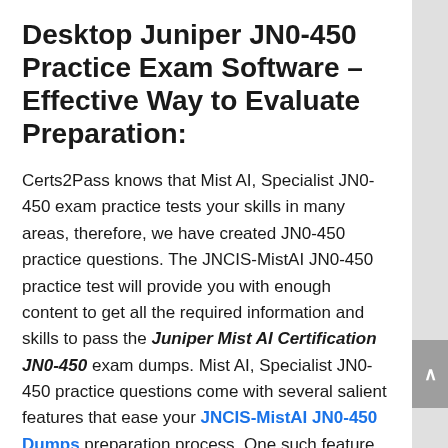Desktop Juniper JN0-450 Practice Exam Software – Effective Way to Evaluate Preparation:
Certs2Pass knows that Mist AI, Specialist JN0-450 exam practice tests your skills in many areas, therefore, we have created JN0-450 practice questions. The JNCIS-MistAI JN0-450 practice test will provide you with enough content to get all the required information and skills to pass the Juniper Mist AI Certification JN0-450 exam dumps. Mist AI, Specialist JN0-450 practice questions come with several salient features that ease your JNCIS-MistAI JN0-450 Dumps preparation process. One such feature enables you to practice in the real